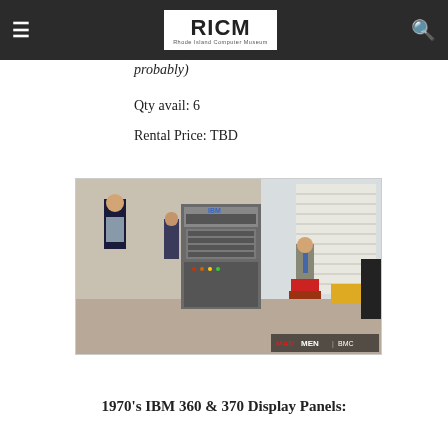RICM Rhode Island Computer Museum
probably)
Qty avail: 6
Rental Price: TBD
[Figure (photo): A scene from Mad Men TV show featuring men in an office with an IBM mainframe computer. MAD MEN | BMC watermark visible in bottom right corner.]
1970's IBM 360 & 370 Display Panels: